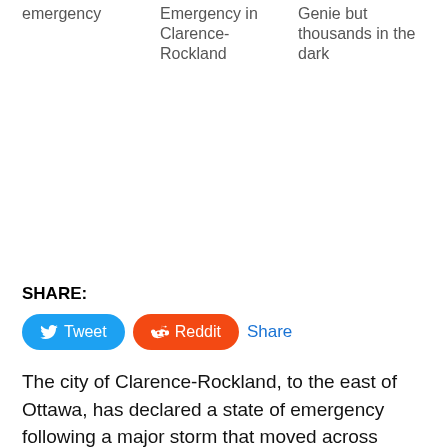emergency
Emergency in Clarence-Rockland
Genie but thousands in the dark
SHARE:
Tweet  Reddit  Share
The city of Clarence-Rockland, to the east of Ottawa, has declared a state of emergency following a major storm that moved across eastern Ontario on Saturday.
"For everyone's safety, we are asking people to stay